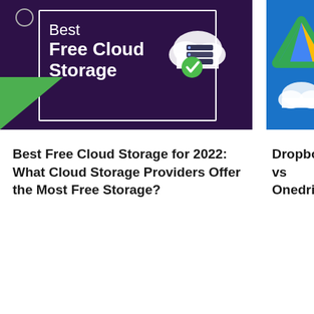[Figure (screenshot): Article card image: dark purple background with white border frame, text 'Best Free Cloud Storage' with cloud and server icon with green checkmark, and green triangle in bottom-left corner]
Best Free Cloud Storage for 2022: What Cloud Storage Providers Offer the Most Free Storage?
[Figure (screenshot): Partially visible article card image: blue background with Google Drive logo (triangle) and cloud icons (Dropbox, OneDrive)]
Dropbox vs Onedrive... in 2022